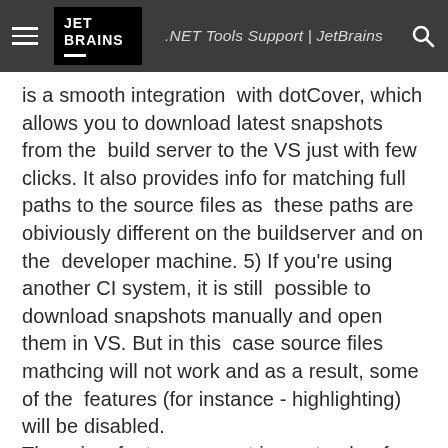.NET Tools Support | JetBrains
is a smooth integration  with dotCover, which allows you to download latest snapshots from the  build server to the VS just with few clicks. It also provides info for matching full paths to the source files as  these paths are obiviously different on the buildserver and on the  developer machine. 5) If you're using another CI system, it is still  possible to download snapshots manually and open them in VS. But in this  case source files mathcing will not work and as a result, some of the  features (for instance - highlighting) will be disabled.
There is a feature request in our tracker for implementing this:
http://youtrack.jetbrains.net/issue/DCVR-3320